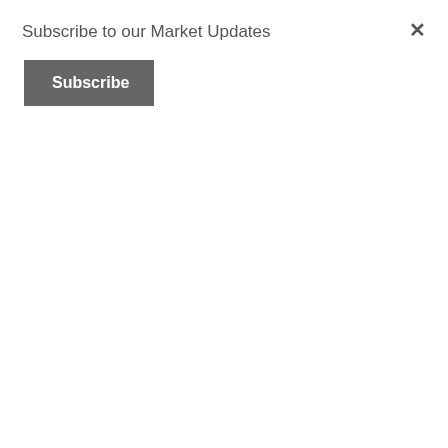Subscribe to our Market Updates
Subscribe
…a 1 percent (1%) increase in interest rate can increase your monthly mortgage payment significantly.
According to CoreLogic's latest Home Price Index, national home prices have appreciated 7.0% from this time last year and are predicted to be 4.2% higher next year.
If both the predictions of home price and interest rate increases become reality, families would wind up paying considerably more for their next home.